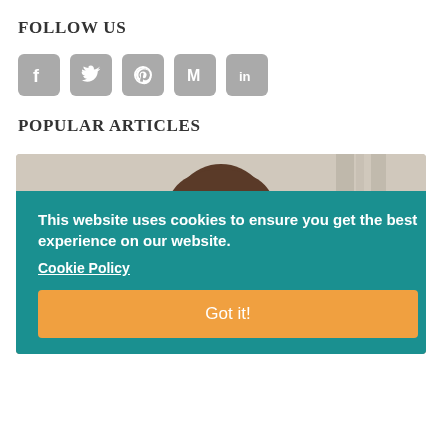FOLLOW US
[Figure (other): Social media icons: Facebook, Twitter, Pinterest, Medium, LinkedIn — rounded grey square icons]
POPULAR ARTICLES
[Figure (photo): Photo of a person (child/young person) looking down at something, with a cookie consent banner overlay. The banner reads: 'This website uses cookies to ensure you get the best experience on our website. Cookie Policy' with a 'Got it!' button.]